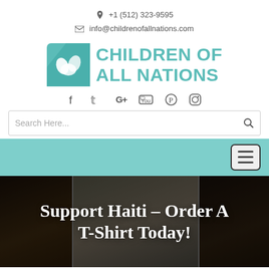+1 (512) 323-9595
info@childrenofallnations.com
[Figure (logo): Children of All Nations logo with teal square icon showing two hands and bold teal text reading CHILDREN OF ALL NATIONS]
[Figure (infographic): Social media icon bar: Facebook, Twitter, Google+, YouTube, Pinterest, Instagram]
[Figure (screenshot): Search bar with placeholder text Search Here... and search icon]
[Figure (infographic): Teal navigation bar with hamburger menu button on right]
[Figure (photo): Hero banner showing three photos of children side by side with dark overlay]
Support Haiti – Order A T-Shirt Today!